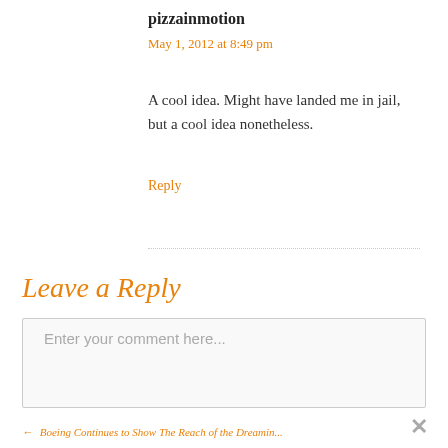pizzainmotion
May 1, 2012 at 8:49 pm
A cool idea. Might have landed me in jail, but a cool idea nonetheless.
Reply
Leave a Reply
Enter your comment here...
Boeing Continues to Show The Reach of the Dreamin...